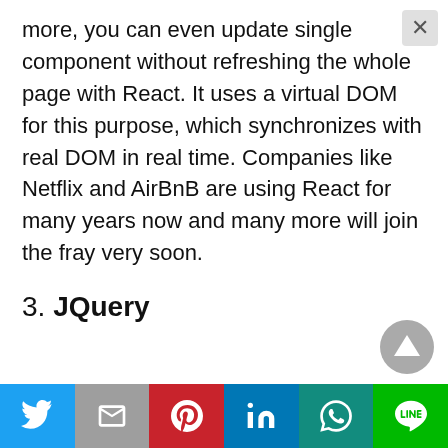more, you can even update single component without refreshing the whole page with React. It uses a virtual DOM for this purpose, which synchronizes with real DOM in real time. Companies like Netflix and AirBnB are using React for many years now and many more will join the fray very soon.
3. JQuery